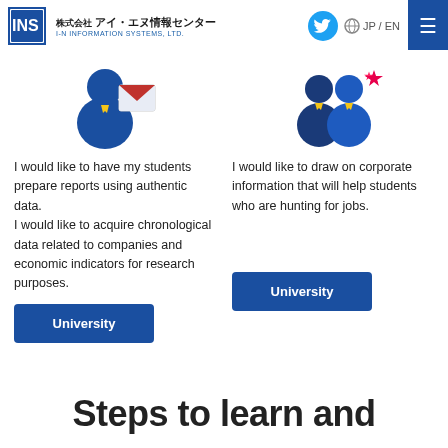株式会社 アイ・エヌ情報センター I-N INFORMATION SYSTEMS, LTD. JP / EN
[Figure (illustration): Icon of a person with an envelope/document, representing a university teacher/researcher]
[Figure (illustration): Icon of two people (students) with a star, representing university students job hunting]
I would like to have my students prepare reports using authentic data.
I would like to acquire chronological data related to companies and economic indicators for research purposes.
I would like to draw on corporate information that will help students who are hunting for jobs.
University
University
Steps to learn and